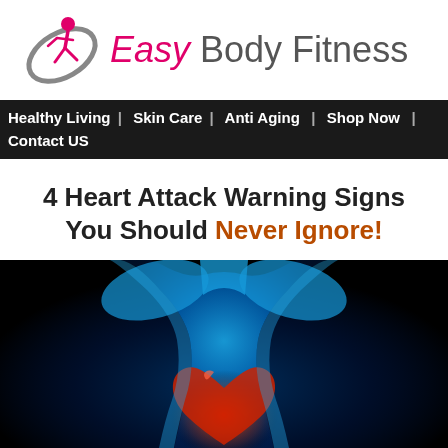[Figure (logo): Easy Body Fitness logo with stylized figure and oval graphic in pink and grey, with brand name 'Easy Body Fitness']
Healthy Living I  Skin Care I  Anti Aging  I  Shop Now  I  Contact US
4 Heart Attack Warning Signs You Should Never Ignore!
[Figure (photo): Medical illustration of a human torso (back view) rendered in blue glowing tones against a black background, with a glowing red heart visible in the chest area, suggesting cardiac health]